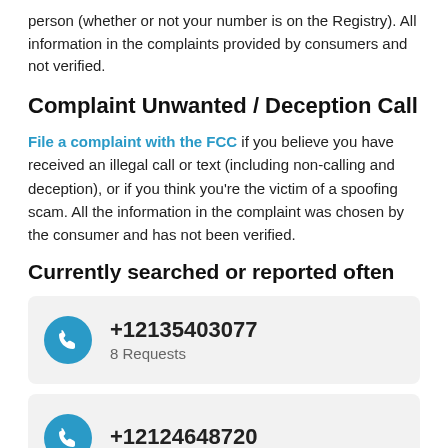person (whether or not your number is on the Registry). All information in the complaints provided by consumers and not verified.
Complaint Unwanted / Deception Call
File a complaint with the FCC if you believe you have received an illegal call or text (including non-calling and deception), or if you think you're the victim of a spoofing scam. All the information in the complaint was chosen by the consumer and has not been verified.
Currently searched or reported often
+12135403077
8 Requests
+12124648720